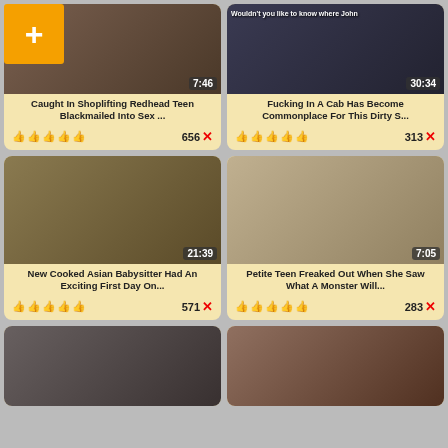[Figure (screenshot): Video thumbnail grid showing adult video content cards with thumbnails, titles, thumbs-up icons, and dislike counts]
Caught In Shoplifting Redhead Teen Blackmailed Into Sex ...
656 X
Fucking In A Cab Has Become Commonplace For This Dirty S...
313 X
New Cooked Asian Babysitter Had An Exciting First Day On...
571 X
Petite Teen Freaked Out When She Saw What A Monster Will...
283 X